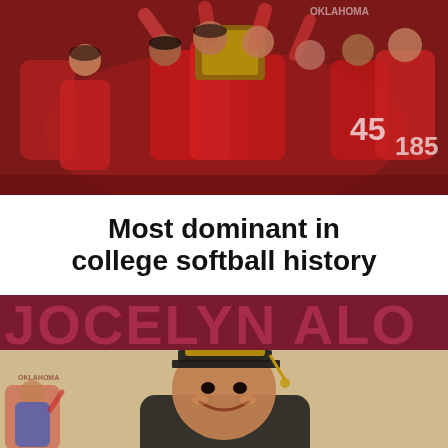[Figure (photo): Oklahoma Sooners softball team celebrating together, players in red uniforms raising a trophy or plaque, group celebration photo]
Most dominant in college softball history
JOCELYN ALO
[Figure (photo): Jocelyn Alo smiling, wearing graduation cap and gown, with a smaller inset of her in softball uniform celebrating]